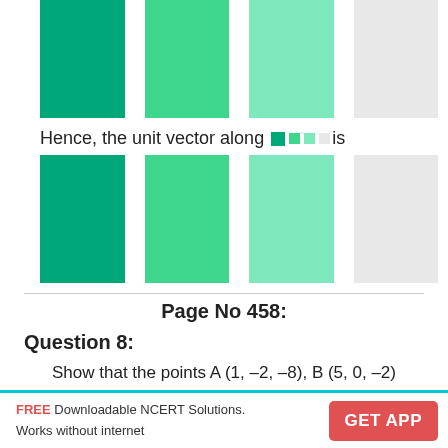[Figure (illustration): Row of four colored rectangles (dark teal, medium teal, light teal, light gray) shown at top of page (partial/cropped).]
Hence, the unit vector along [colored squares] is
[Figure (illustration): Row of four colored rectangles (dark teal, medium teal, light teal, light gray) representing a vector expression.]
Page No 458:
Question 8:
Show that the points A (1, –2, –8), B (5, 0, –2) and C (11, 3, 7) are collinear, and find the ratio in which B divides AC.
FREE Downloadable NCERT Solutions. Works without internet  GET APP